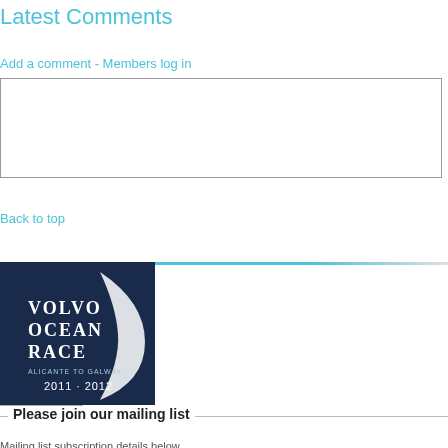Latest Comments
Add a comment - Members log in
[Figure (other): Text input textarea for comment submission]
Post comment
Back to top
[Figure (logo): Volvo Ocean Race 2011-2012 logo on dark navy background with crescent sail design]
Please join our mailing list